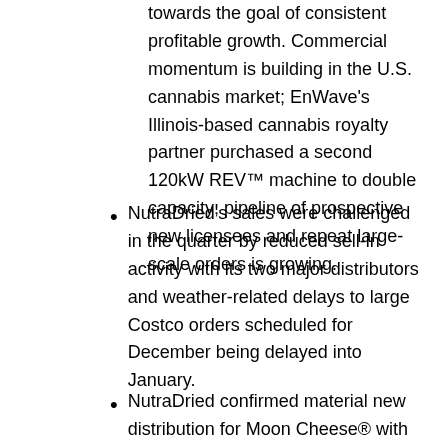towards the goal of consistent profitable growth. Commercial momentum is building in the U.S. cannabis market; EnWave's Illinois-based cannabis royalty partner purchased a second 120kW REV™ machine to double capacity; pipeline of prospective new licensees and repeat large-scale orders is growing.
NutraDried's sales were challenged in the quarter by reduced sell-in activity with its two major distributors and weather-related delays to large Costco orders scheduled for December being delayed into January.
NutraDried confirmed material new distribution for Moon Cheese® with Kroger, Whole Foods